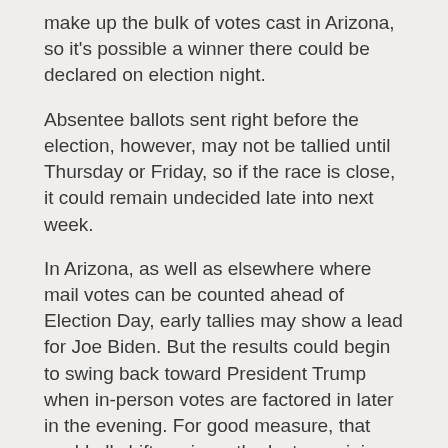make up the bulk of votes cast in Arizona, so it's possible a winner there could be declared on election night.
Absentee ballots sent right before the election, however, may not be tallied until Thursday or Friday, so if the race is close, it could remain undecided late into next week.
In Arizona, as well as elsewhere where mail votes can be counted ahead of Election Day, early tallies may show a lead for Joe Biden. But the results could begin to swing back toward President Trump when in-person votes are factored in later in the evening. For good measure, that could all shift again as the last remaining mail ballots trickle in.
Florida
Americans may know who won Florida before they go to bed on election night.